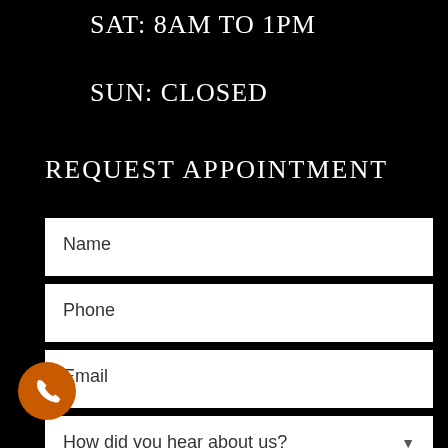SAT: 8AM TO 1PM
SUN: CLOSED
REQUEST APPOINTMENT
Name
Phone
Email
How did you hear about us?
Message
[Figure (illustration): Orange circular phone call button icon in the bottom-left corner]